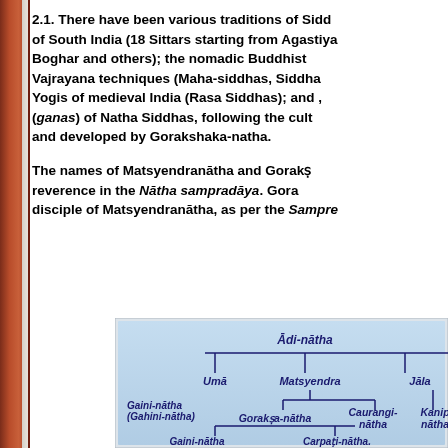2.1. There have been various traditions of Sidd of South India (18 Sittars starting from Agastiya Boghar and others); the nomadic Buddhist Vajrayana techniques (Maha-siddhas, Siddha Yogis of medieval India (Rasa Siddhas); and , (ganas) of Natha Siddhas, following the cult and developed by Gorakshaka-natha.
The names of Matsyendranātha and Gorakṣ reverence in the Nātha sampradāya. Gora disciple of Matsyendranātha, as per the Sampre
[Figure (organizational-chart): Lineage chart of Natha Siddhas showing Ādi-nātha at top, with branches to Umā, Matsyendra, and Jāla. Matsyendra branches to Gorakṣa-nātha and Caurangi-nātha, with Kanip-nātha also shown. Gorakṣa-nātha branches to Gaini-nātha (Gahini-nātha) and Carpaṭi-nātha.]
Gaini-nātha (Gahini-nātha)